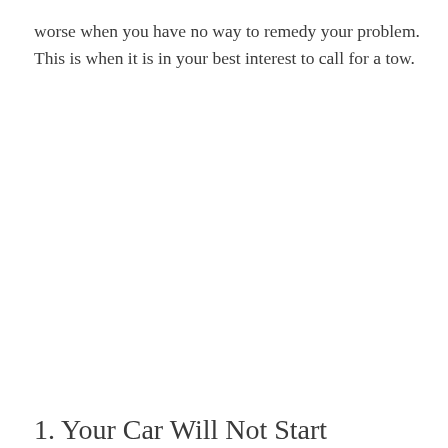worse when you have no way to remedy your problem. This is when it is in your best interest to call for a tow.
1. Your Car Will Not Start